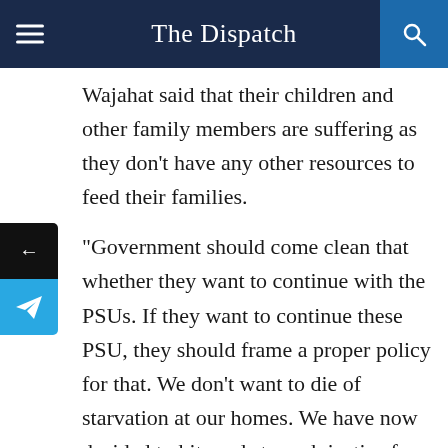The Dispatch
Wajahat said that their children and other family members are suffering as they don’t have any other resources to feed their families.
“Government should come clean that whether they want to continue with the PSUs. If they want to continue these PSU, they should frame a proper policy for that. We don’t want to die of starvation at our homes. We have now decided to hit roads to seek justice for ourselves,” he said.
He said that the government had given